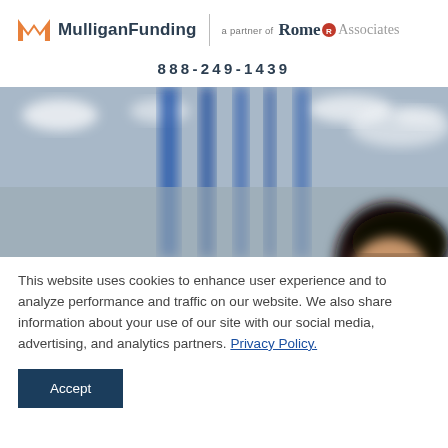[Figure (logo): Mulligan Funding logo with orange M icon and text, partnered with Rome & Associates]
888-249-1439
[Figure (photo): Blurred industrial warehouse interior with blue steel columns and a person with dark hair visible on the right side]
This website uses cookies to enhance user experience and to analyze performance and traffic on our website. We also share information about your use of our site with our social media, advertising, and analytics partners. Privacy Policy.
Accept